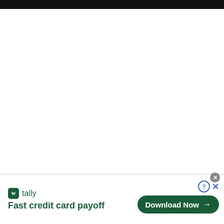[Figure (screenshot): Black top bar, partial screenshot header area]
[Figure (screenshot): White blank main content area of a web page]
[Figure (other): Tally app advertisement banner at bottom. Shows Tally logo (green square with W), tally brand name, tagline 'Fast credit card payoff', a Download Now button with arrow, help (?) button, and close (x) controls.]